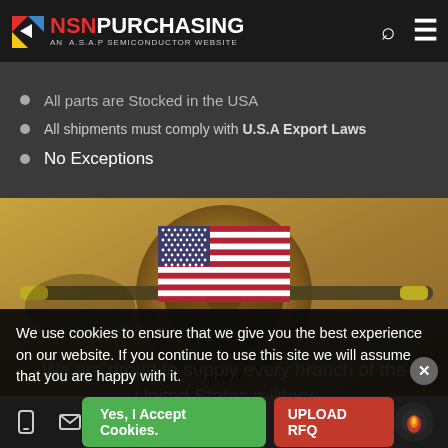NSN PURCHASING — An A.S.A.P Semiconductor Website
All parts are Stocked in the USA
All shipments must comply with U.S.A Export Laws
No Exceptions
[Figure (illustration): American flag over vintage military aircraft with orange/yellow-tinted hero image. Text overlay: 'We are proud to supply every branch of the United States military']
We use cookies to ensure that we give you the best experience on our website. If you continue to use this site we will assume that you are happy with it.
Yes, I Accept Cookies.  UPLOAD RFQ